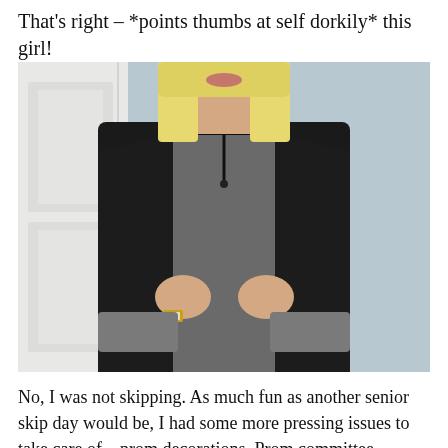That's right – *points thumbs at self dorkily* this girl!
[Figure (photo): A person with long blonde hair wearing a black blazer over a grey knit top with a black choker necklace, holding the lapels of the blazer, standing in front of a white door and light blue wall. A gold watch is visible on their left wrist.]
No, I was not skipping. As much fun as another senior skip day would be, I had some more pressing issues to take care of – prom decorations. Prom committee, the single best club. I invisibly joined b/c I would b